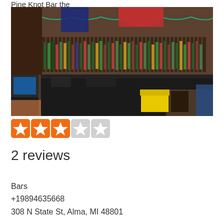Pine Knot Bar the
[Figure (photo): Interior photo of a bar showing shelves lined with liquor bottles behind a dark bar counter. Colorful items hanging above including a red garment and blue jacket. A yellow container is visible on the counter. POS computer terminal on the left side.]
★★★☆☆ (2.5 stars out of 5 — 3 filled stars, 2 empty)
2 reviews
Bars
+19894635668
308 N State St, Alma, MI 48801